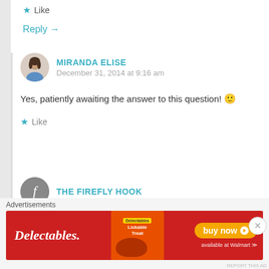★ Like
Reply →
MIRANDA ELISE
December 31, 2014 at 9:16 am
Yes, patiently awaiting the answer to this question! 🙂
★ Like
THE FIREFLY HOOK
Advertisements
[Figure (illustration): Delectables cat treats advertisement banner with red background, product image, and 'buy now available at Walmart' button]